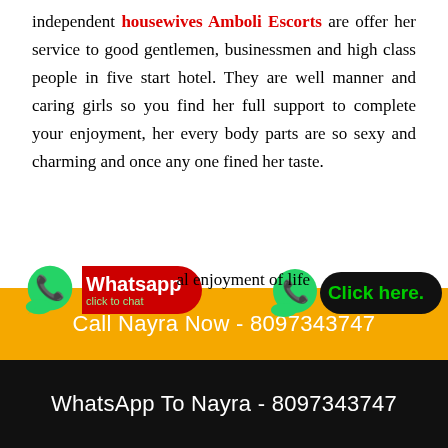independent housewives Amboli Escorts are offer her service to good gentlemen, businessmen and high class people in five start hotel. They are well manner and caring girls so you find her full support to complete your enjoyment, her every body parts are so sexy and charming and once any one fined her taste.
[Figure (infographic): WhatsApp button (red/green) and Click here button (black/green) overlaid on text]
al enjoyment of life you to find enjoyment and pleasure to meet these type of Amboli Call Girls you feel proud on your decision to hire Amboli escorts service so now you are
Call Nayra Now - 8097343747
WhatsApp To Nayra - 8097343747